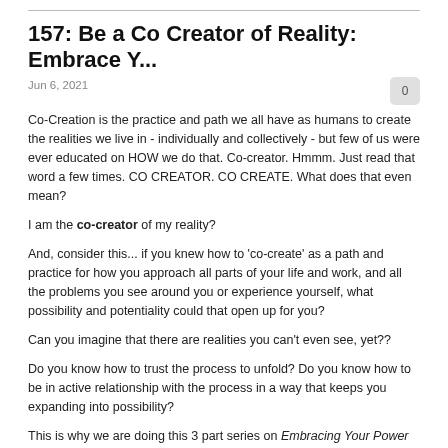157: Be a Co Creator of Reality: Embrace Y...
Jun 6, 2021
Co-Creation is the practice and path we all have as humans to create the realities we live in - individually and collectively - but few of us were ever educated on HOW we do that. Co-creator. Hmmm. Just read that word a few times. CO CREATOR. CO CREATE. What does that even mean?
I am the co-creator of my reality?
And, consider this... if you knew how to 'co-create' as a path and practice for how you approach all parts of your life and work, and all the problems you see around you or experience yourself, what possibility and potentiality could that open up for you?
Can you imagine that there are realities you can't even see, yet??
Do you know how to trust the process to unfold? Do you know how to be in active relationship with the process in a way that keeps you expanding into possibility?
This is why we are doing this 3 part series on Embracing Your Power to Create the World You Desire to Live In. To educate, explore, experiment and experience this power we have within us to make change, do things differently, shift this world, stop patterns and habits that keep us and others trapped in...